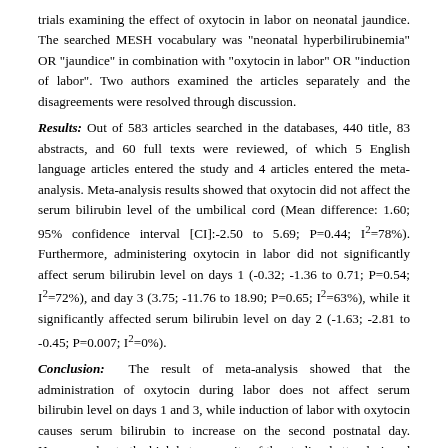trials examining the effect of oxytocin in labor on neonatal jaundice. The searched MESH vocabulary was "neonatal hyperbilirubinemia" OR "jaundice" in combination with "oxytocin in labor" OR "induction of labor". Two authors examined the articles separately and the disagreements were resolved through discussion.
Results: Out of 583 articles searched in the databases, 440 title, 83 abstracts, and 60 full texts were reviewed, of which 5 English language articles entered the study and 4 articles entered the meta-analysis. Meta-analysis results showed that oxytocin did not affect the serum bilirubin level of the umbilical cord (Mean difference: 1.60; 95% confidence interval [CI]:-2.50 to 5.69; P=0.44; I²=78%). Furthermore, administering oxytocin in labor did not significantly affect serum bilirubin level on days 1 (-0.32; -1.36 to 0.71; P=0.54; I²=72%), and day 3 (3.75; -11.76 to 18.90; P=0.65; I²=63%), while it significantly affected serum bilirubin level on day 2 (-1.63; -2.81 to -0.45; P=0.007; I²=0%).
Conclusion: The result of meta-analysis showed that the administration of oxytocin during labor does not affect serum bilirubin level on days 1 and 3, while induction of labor with oxytocin causes serum bilirubin to increase on the second postnatal day. However, due to the high heterogeneity of the studies, better designed clinical trials are recommended to achieve better results.